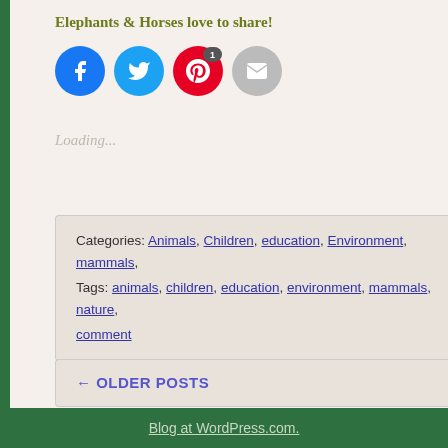Elephants & Horses love to share!
[Figure (other): Social share buttons: Facebook (blue circle), Twitter (light blue circle), Pinterest (red circle with badge '1'), Email (gray circle)]
Loading...
Categories: Animals, Children, education, Environment, mammals,
Tags: animals, children, education, environment, mammals, nature,
comment
← OLDER POSTS
Blog at WordPress.com.